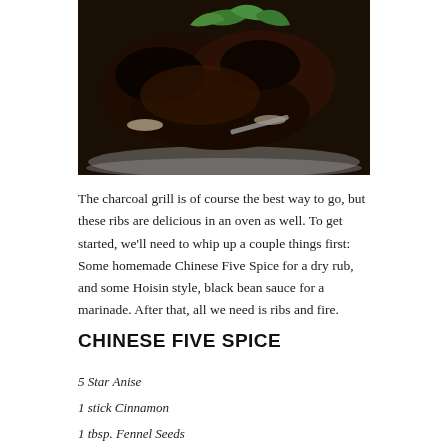[Figure (photo): Grilled dark-charred ribs on a metal platter garnished with green herbs, viewed from above]
The charcoal grill is of course the best way to go, but these ribs are delicious in an oven as well. To get started, we'll need to whip up a couple things first: Some homemade Chinese Five Spice for a dry rub, and some Hoisin style, black bean sauce for a marinade. After that, all we need is ribs and fire.
CHINESE FIVE SPICE
5 Star Anise
1 stick Cinnamon
1 tbsp. Fennel Seeds